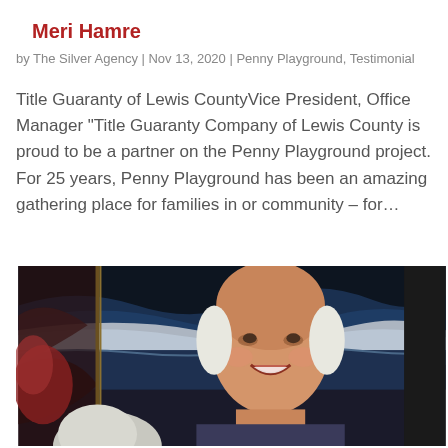Meri Hamre
by The Silver Agency | Nov 13, 2020 | Penny Playground, Testimonial
Title Guaranty of Lewis CountyVice President, Office Manager “Title Guaranty Company of Lewis County is proud to be a partner on the Penny Playground project. For 25 years, Penny Playground has been an amazing gathering place for families in or community – for…
[Figure (photo): Photograph of an elderly smiling man with white hair, seated in front of framed artwork depicting an ocean/coastal scene with waves]